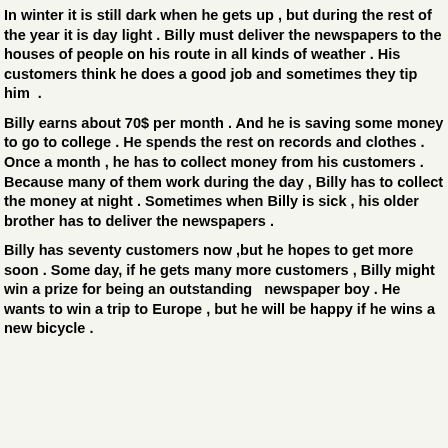In winter it is still dark when he gets up , but during the rest of the year it is day light . Billy must deliver the newspapers to the houses of people on his route in all kinds of weather . His customers think he does a good job and sometimes they tip him .
Billy earns about 70$ per month . And he is saving some money to go to college . He spends the rest on records and clothes . Once a month , he has to collect money from his customers . Because many of them work during the day , Billy has to collect the money at night . Sometimes when Billy is sick , his older brother has to deliver the newspapers .
Billy has seventy customers now ,but he hopes to get more soon . Some day, if he gets many more customers , Billy might win a prize for being an outstanding  newspaper boy . He wants to win a trip to Europe , but he will be happy if he wins a new bicycle .